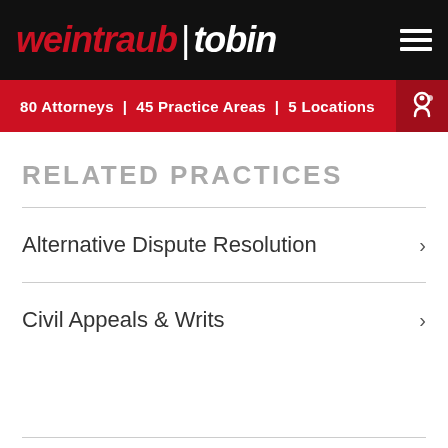weintraub|tobin — 80 Attorneys | 45 Practice Areas | 5 Locations
RELATED PRACTICES
Alternative Dispute Resolution
Civil Appeals & Writs
PRACTICE GROUP LEADER